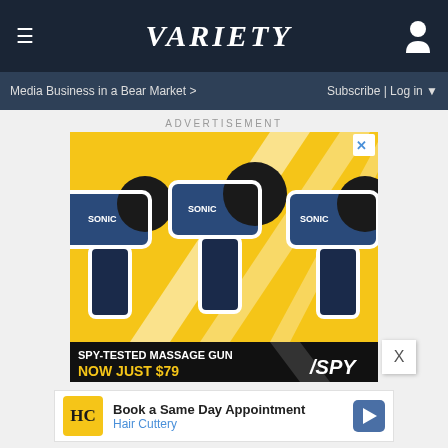VARIETY
Media Business in a Bear Market >
Subscribe | Log in
ADVERTISEMENT
[Figure (photo): Advertisement showing three blue massage guns labeled SONIC on a yellow diagonal striped background, with text 'SPY-TESTED MASSAGE GUN NOW JUST $79' and SPY logo]
[Figure (infographic): Book a Same Day Appointment - Hair Cuttery advertisement with HC logo and blue navigation arrow]